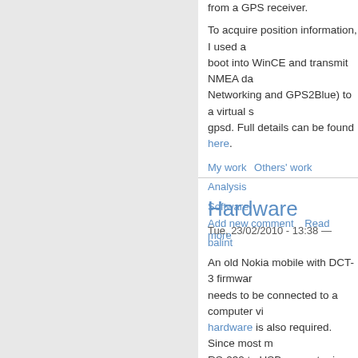from a GPS receiver.
To acquire position information, I used a boot into WinCE and transmit NMEA da Networking and GPS2Blue) to a virtual s gpsd. Full details can be found here.
My work
Others' work
Analysis
Software
Add new comment   Read more
Hardware
Tue, 23/02/2010 - 13:38 — balint
An old Nokia mobile with DCT-3 firmwar needs to be connected to a computer vi hardware is also required. Since most m RS-232 to USB converter is also a goo
Add
My work
Control system
Dev
new comment   Read more